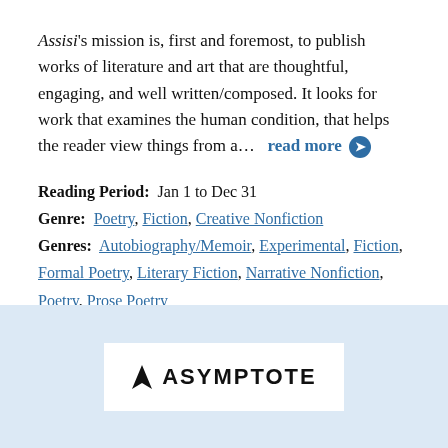Assisi's mission is, first and foremost, to publish works of literature and art that are thoughtful, engaging, and well written/composed. It looks for work that examines the human condition, that helps the reader view things from a...   read more ➔
Reading Period:  Jan 1 to Dec 31
Genre:  Poetry, Fiction, Creative Nonfiction
Genres:  Autobiography/Memoir, Experimental, Fiction, Formal Poetry, Literary Fiction, Narrative Nonfiction, Poetry, Prose Poetry
[Figure (logo): Asymptote journal logo with arrow icon and bold uppercase text ASYMPTOTE on light blue background]